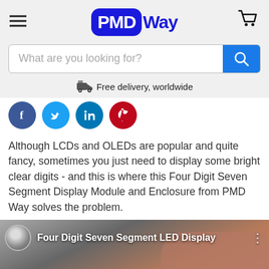[Figure (logo): PMDWay logo with hamburger menu icon on left and shopping cart icon on right]
[Figure (screenshot): Search bar with placeholder text 'What are you looking for?' and blue search button]
Free delivery, worldwide
[Figure (illustration): Four social media share buttons: Facebook (blue), Twitter (teal), LinkedIn (blue), Pinterest (red)]
Although LCDs and OLEDs are popular and quite fancy, sometimes you just need to display some bright clear digits - and this is where this Four Digit Seven Segment Display Module and Enclosure from PMD Way solves the problem.
[Figure (screenshot): Video thumbnail for 'Four Digit Seven Segment LED Display' showing a hand holding a display device]